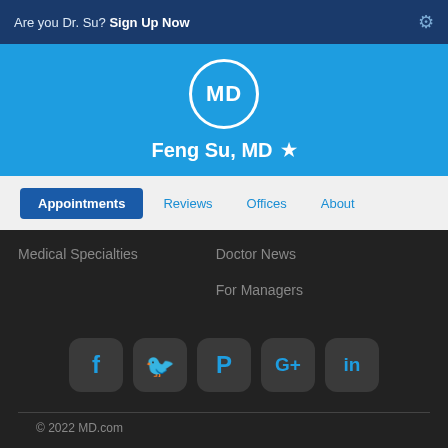Are you Dr. Su? Sign Up Now
[Figure (logo): MD.com circular logo in white on blue background]
Feng Su, MD ★
Appointments  Reviews  Offices  About
Medical Specialties
Doctor News
For Managers
[Figure (infographic): Social media icons row: Facebook, Twitter, Pinterest, Google+, LinkedIn]
© 2022 MD.com